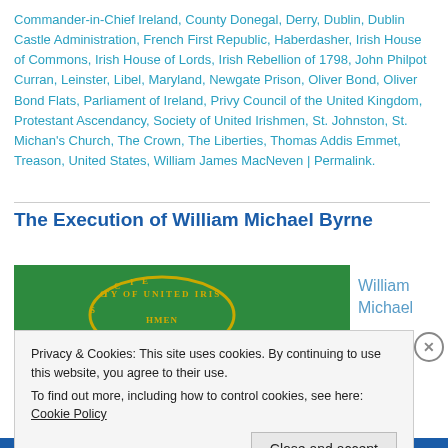Commander-in-Chief Ireland, County Donegal, Derry, Dublin, Dublin Castle Administration, French First Republic, Haberdasher, Irish House of Commons, Irish House of Lords, Irish Rebellion of 1798, John Philpot Curran, Leinster, Libel, Maryland, Newgate Prison, Oliver Bond, Oliver Bond Flats, Parliament of Ireland, Privy Council of the United Kingdom, Protestant Ascendancy, Society of United Irishmen, St. Johnston, St. Michan's Church, The Crown, The Liberties, Thomas Addis Emmet, Treason, United States, William James MacNeven | Permalink.
The Execution of William Michael Byrne
[Figure (illustration): Green banner/flag with 'Society of United Irishmen' badge/seal in yellow text on a dark green background, partially visible.]
William Michael
Privacy & Cookies: This site uses cookies. By continuing to use this website, you agree to their use.
To find out more, including how to control cookies, see here: Cookie Policy